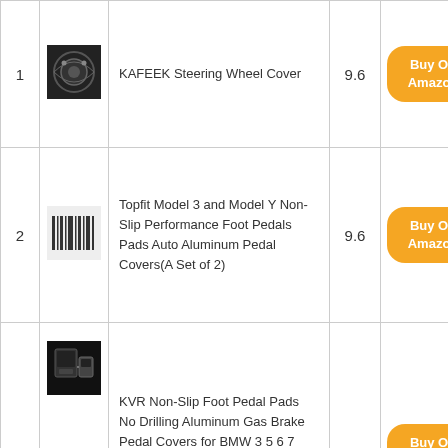| # | Image | Product Name | Score | Action |
| --- | --- | --- | --- | --- |
| 1 | [image] | KAFEEK Steering Wheel Cover | 9.6 | Buy On Amazon |
| 2 | [image] | Topfit Model 3 and Model Y Non-Slip Performance Foot Pedals Pads Auto Aluminum Pedal Covers(A Set of 2) | 9.6 | Buy On Amazon |
| 3 | [image] | KVR Non-Slip Foot Pedal Pads No Drilling Aluminum Gas Brake Pedal Covers for BMW 3 5 6 7 Series X3 X4 X5 X6 X7 Automatic Car Accelerator Pedals Accessories□2Pcs (Model #C) | 9.6 | Buy On Amazon |
| 4 | [image] |  |  | Buy On Amazon |